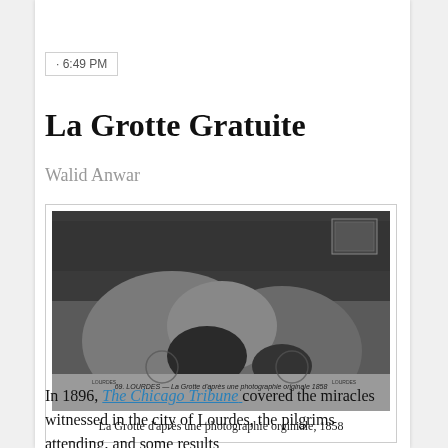· 6:49 PM
La Grotte Gratuite
Walid Anwar
[Figure (photo): Historical black and white photograph/postcard of La Grotte (the Grotto) in Lourdes, based on an original photograph from 1858. Shows rocky cave formation with postmarks visible.]
La Grotte d'après une photographie orginiale, 1858
In 1896, The Chicago Tribune covered the miracles witnessed in the city of Lourdes, the pilgrims attending, and some results